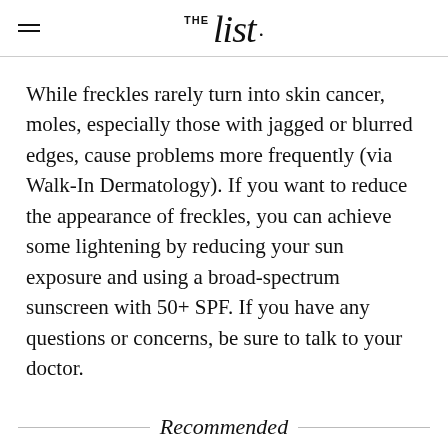THE list
While freckles rarely turn into skin cancer, moles, especially those with jagged or blurred edges, cause problems more frequently (via Walk-In Dermatology). If you want to reduce the appearance of freckles, you can achieve some lightening by reducing your sun exposure and using a broad-spectrum sunscreen with 50+ SPF. If you have any questions or concerns, be sure to talk to your doctor.
Recommended